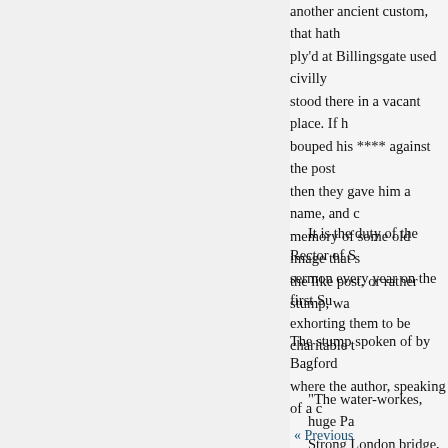another ancient custom, that hath ply'd at Billingsgate used civilly stood there in a vacant place. If h bouped his **** against the post then they gave him a name, and c memory of some old image that s the like post, or rather stump, wa
It is the duty of the Rector of S sermon every year on the first Su exhorting them to be charitable t
The stump spoken of by Bagford where the author, speaking of a c
"The water-workes, huge Pa Strong London bridge, at b
(“A GAME played by boys; ea triangularly, about twenty feet ap about two feet long. Three other
« Previous